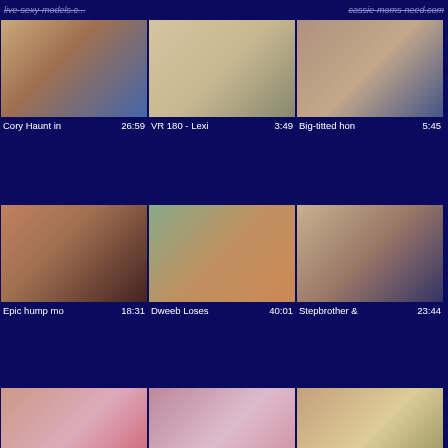live-sexy-models.c...  cassie-moms-need.com
Cory Haunt in  26:59
VR 180 - Lexi  3:49
Big-titted hon  5:45
Epic hump mo  18:31
Dweeb Loses  40:01
Stepbrother &  23:44